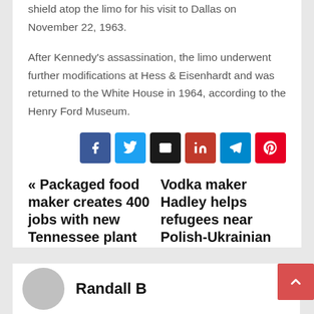shield atop the limo for his visit to Dallas on November 22, 1963.
After Kennedy's assassination, the limo underwent further modifications at Hess & Eisenhardt and was returned to the White House in 1964, according to the Henry Ford Museum.
[Figure (infographic): Social share buttons: Facebook (blue), Twitter (light blue), Email (black), LinkedIn (red), Telegram (blue), Pinterest (red)]
« Packaged food maker creates 400 jobs with new Tennessee plant
Vodka maker Hadley helps refugees near Polish-Ukrainian border »
[Figure (photo): Author avatar circle (gray placeholder) and author name starting with 'Randall B']